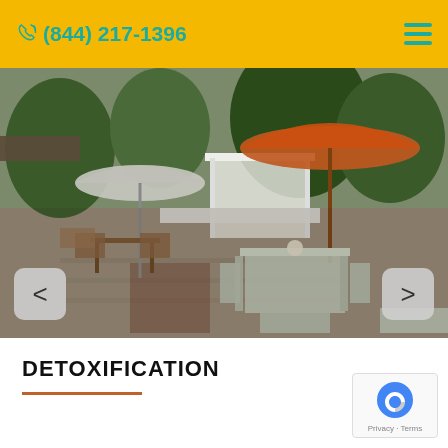(844) 217-1396
[Figure (photo): Outdoor patio area with paving stones, outdoor furniture including wooden chairs and a glass table with white metal chairs, two large patio umbrellas (one grey-white, one orange-red), green trees and bushes, and a white pergola/gazebo in the background. Navigation left/right arrows overlay the bottom of the photo.]
DETOXIFICATION